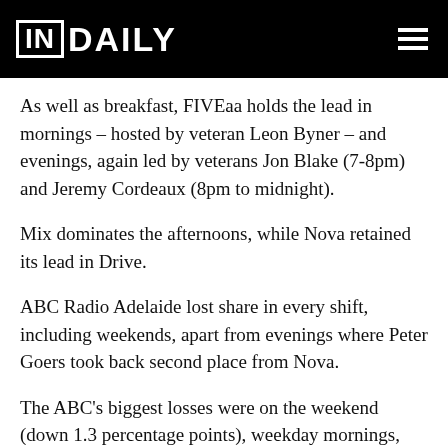IN DAILY
As well as breakfast, FIVEaa holds the lead in mornings – hosted by veteran Leon Byner – and evenings, again led by veterans Jon Blake (7-8pm) and Jeremy Cordeaux (8pm to midnight).
Mix dominates the afternoons, while Nova retained its lead in Drive.
ABC Radio Adelaide lost share in every shift, including weekends, apart from evenings where Peter Goers took back second place from Nova.
The ABC's biggest losses were on the weekend (down 1.3 percentage points), weekday mornings, where David Bevan and the syndicated Conversations program lost 1.2 percentage points, and Drive, where Jules Schiller lost 1.1